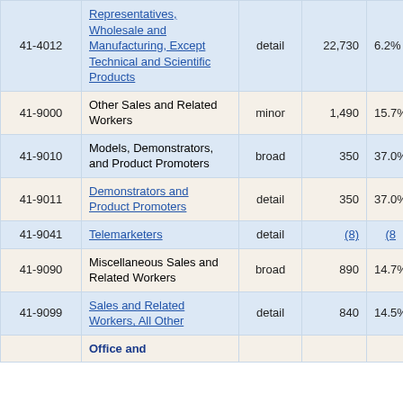| Code | Occupation | Level | Employment | % Change |
| --- | --- | --- | --- | --- |
| 41-4012 | Sales Representatives, Wholesale and Manufacturing, Except Technical and Scientific Products | detail | 22,730 | 6.2% |
| 41-9000 | Other Sales and Related Workers | minor | 1,490 | 15.7% |
| 41-9010 | Models, Demonstrators, and Product Promoters | broad | 350 | 37.0% |
| 41-9011 | Demonstrators and Product Promoters | detail | 350 | 37.0% |
| 41-9041 | Telemarketers | detail | (8) | (8) |
| 41-9090 | Miscellaneous Sales and Related Workers | broad | 890 | 14.7% |
| 41-9099 | Sales and Related Workers, All Other | detail | 840 | 14.5% |
|  | Office and ... |  |  |  |